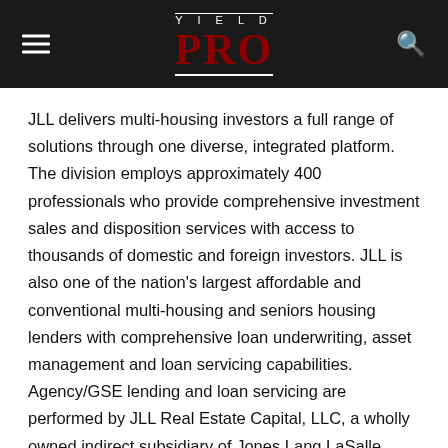YIELD PRO
JLL delivers multi-housing investors a full range of solutions through one diverse, integrated platform. The division employs approximately 400 professionals who provide comprehensive investment sales and disposition services with access to thousands of domestic and foreign investors. JLL is also one of the nation's largest affordable and conventional multi-housing and seniors housing lenders with comprehensive loan underwriting, asset management and loan servicing capabilities. Agency/GSE lending and loan servicing are performed by JLL Real Estate Capital, LLC, a wholly owned indirect subsidiary of Jones Lang LaSalle Incorporated. Loans made or arranged in California are pursuant to a California Financing Law license.